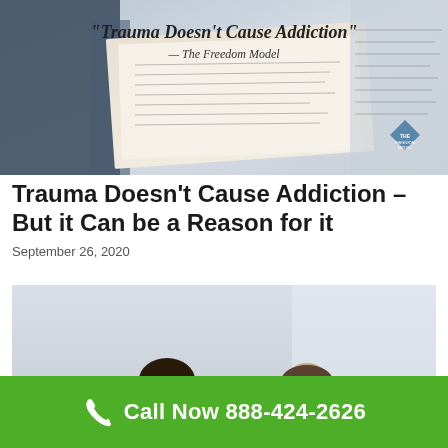[Figure (photo): Banner image showing a book/document with text 'Trauma Doesn't Cause Addiction' — The Freedom Model, with The Freedom Model logo visible]
Trauma Doesn't Cause Addiction – But it Can be a Reason for it
September 26, 2020
[Figure (photo): Photo of a man and woman sitting apart on a couch, both looking distressed, representing relationship conflict or emotional trauma]
Call Now 888-424-2626